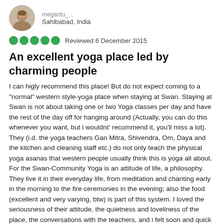[Figure (photo): Profile photo of reviewer, a man, circular avatar]
Sahibabad, India
Reviewed 6 December 2015
An excellent yoga place led by charming people
I can higly recommend this place! But do not expect coming to a "normal" western style-yoga place when staying at Swan. Staying at Swan is not about taking one or two Yoga classes per day and have the rest of the day off for hanging around (Actually, you can do this whenever you want, but i wouldnt' recommend it, you'll miss a lot). They (i.d. the yoga teachers Gan Mitra, Shivendra, Om, Daya and the kitchen and cleaning staff etc.) do not only teach the physical yoga asanas that western people usually think this is yoga all about. For the Swan-Community Yoga is an attitude of life, a philosophy. They live it in their everyday life, from meditation and chanting early in the morning to the fire ceremonies in the evening; also the food (excellent and very varying, btw) is part of this system. I loved the seriousness of their attitude, the quietness and loveliness of the place, the conversations with the teachers, and i felt soon and quick integrated in the community. My absolute favourite was the mantra-chanting early in the morning, sitting all together around